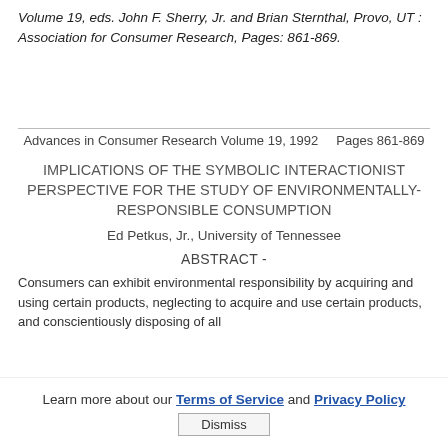Volume 19, eds. John F. Sherry, Jr. and Brian Sternthal, Provo, UT : Association for Consumer Research, Pages: 861-869.
Advances in Consumer Research Volume 19, 1992     Pages 861-869
IMPLICATIONS OF THE SYMBOLIC INTERACTIONIST PERSPECTIVE FOR THE STUDY OF ENVIRONMENTALLY-RESPONSIBLE CONSUMPTION
Ed Petkus, Jr., University of Tennessee
ABSTRACT -
Consumers can exhibit environmental responsibility by acquiring and using certain products, neglecting to acquire and use certain products, and conscientiously disposing of all
Learn more about our Terms of Service and Privacy Policy
Dismiss